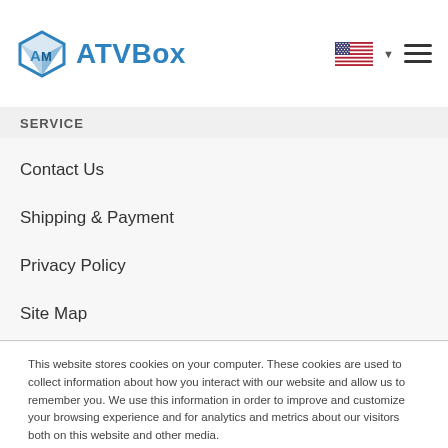[Figure (logo): ATVBox logo with blue box icon and blue/dark text reading ATVBox, plus US flag and hamburger menu icons on the right]
SERVICE
Contact Us
Shipping & Payment
Privacy Policy
Site Map
This website stores cookies on your computer. These cookies are used to collect information about how you interact with our website and allow us to remember you. We use this information in order to improve and customize your browsing experience and for analytics and metrics about our visitors both on this website and other media.